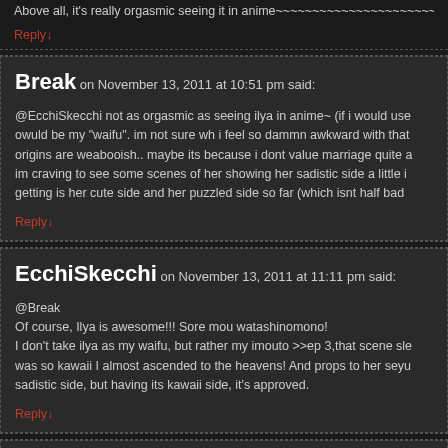Above all, it's really orgasmic seeing it in anime~~~~~~~~~~~~~~~~~~~~
Reply↓
Break on November 13, 2011 at 10:51 pm said:
@EcchiSkecchi not as orgasmic as seeing ilya in anime~ (if i would use owuld be my "waifu". im not sure wh i feel so dammn awkward with that origins are weabooish.. maybe its because i dont value marriage quite a im craving to see some scenes of her showing her sadistic side a little i getting is her cute side and her puzzled side so far (which isnt half bad
Reply↓
EcchiSkecchi on November 13, 2011 at 11:11 pm said:
@Break
Of course, Ilya is awesome!!! Sore mou watashinomono!
I don't take ilya as my waifu, but rather my imouto >>ep 3,that scene sle was so kawaii I almost ascended to the heavens! And props to her seyu sadistic side, but having its kawaii side, it's approved.
Reply↓